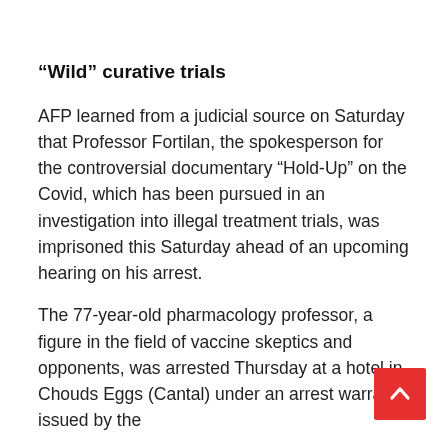“Wild” curative trials
AFP learned from a judicial source on Saturday that Professor Fortilan, the spokesperson for the controversial documentary “Hold-Up” on the Covid, which has been pursued in an investigation into illegal treatment trials, was imprisoned this Saturday ahead of an upcoming hearing on his arrest.
The 77-year-old pharmacology professor, a figure in the field of vaccine skeptics and opponents, was arrested Thursday at a hotel in Chouds Eggs (Cantal) under an arrest warrant issued by the